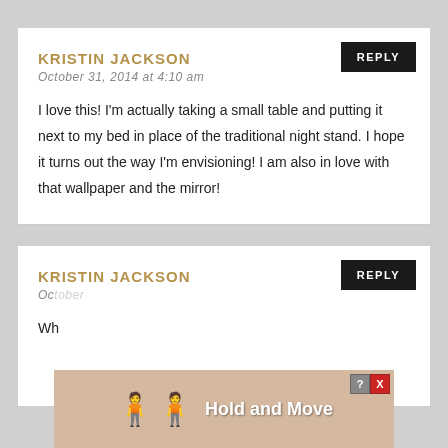KRISTIN JACKSON
October 31, 2014 at 4:10 am
I love this! I'm actually taking a small table and putting it next to my bed in place of the traditional night stand. I hope it turns out the way I'm envisioning! I am also in love with that wallpaper and the mirror!
KRISTIN JACKSON
[Figure (other): Advertisement overlay banner at the bottom of the page showing two cartoon figures and text 'Hold and Move' with a close button (? X)]